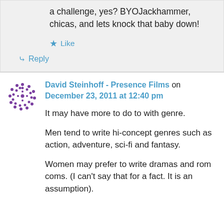a challenge, yes? BYOJackhammer, chicas, and lets knock that baby down!
★ Like
↳ Reply
David Steinhoff - Presence Films on December 23, 2011 at 12:40 pm
It may have more to do to with genre.
Men tend to write hi-concept genres such as action, adventure, sci-fi and fantasy.
Women may prefer to write dramas and rom coms. (I can't say that for a fact. It is an assumption).